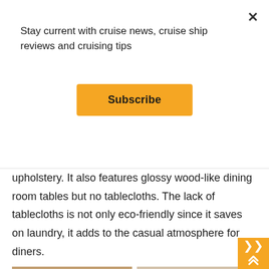Stay current with cruise news, cruise ship reviews and cruising tips
Subscribe
toned-down hues are most noticeable in the 1,474-seat Meridian dining room carpet and upholstery. It also features glossy wood-like dining room tables but no tablecloths. The lack of tablecloths is not only eco-friendly since it saves on laundry, it adds to the casual atmosphere for diners.
[Figure (photo): Aerial view of a busy dining room with many tables and diners]
[Figure (photo): Buffet area with food displays and diners in the background]